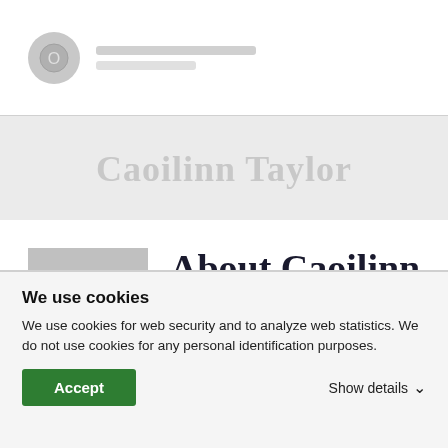[Figure (screenshot): Navigation bar with circular icon and placeholder text lines]
Caoilinn Taylor
About Caoilinn Taylor
We use cookies
We use cookies for web security and to analyze web statistics. We do not use cookies for any personal identification purposes.